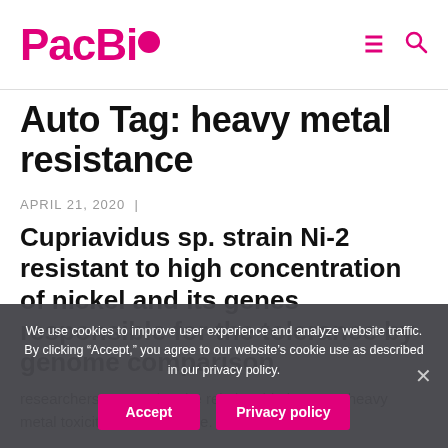PacBio
Auto Tag: heavy metal resistance
APRIL 21, 2020  |
Cupriavidus sp. strain Ni-2 resistant to high concentration of nickel and its genes responsible for the tolerance by genome comparison.
researchers to examine the relationship between heavy metal toxicity and resistance. In this
We use cookies to improve user experience and analyze website traffic. By clicking “Accept,” you agree to our website’s cookie use as described in our privacy policy.